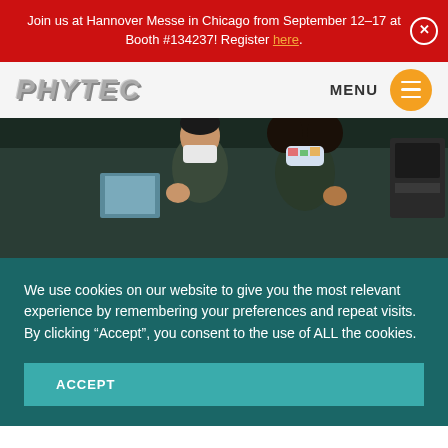Join us at Hannover Messe in Chicago from September 12-17 at Booth #134237! Register here.
[Figure (logo): PHYTEC logo in metallic gray italic text]
MENU
[Figure (photo): Two people wearing face masks giving thumbs up in an office/lab environment, with equipment visible in the background]
We use cookies on our website to give you the most relevant experience by remembering your preferences and repeat visits. By clicking “Accept”, you consent to the use of ALL the cookies.
ACCEPT